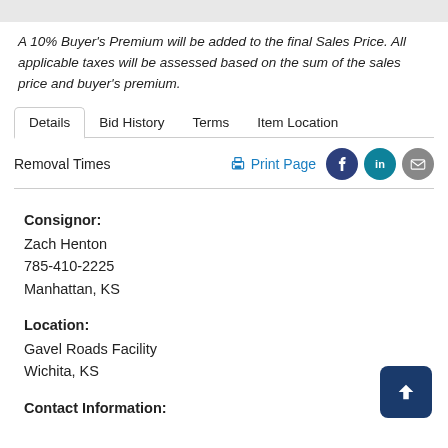A 10% Buyer's Premium will be added to the final Sales Price. All applicable taxes will be assessed based on the sum of the sales price and buyer's premium.
Details | Bid History | Terms | Item Location | Removal Times
Print Page
Consignor:
Zach Henton
785-410-2225
Manhattan, KS
Location:
Gavel Roads Facility
Wichita, KS
Contact Information: